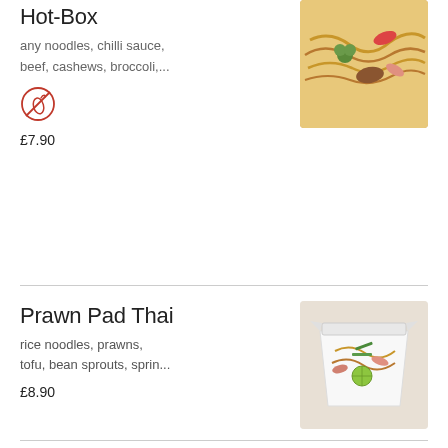Hot-Box
any noodles, chilli sauce, beef, cashews, broccoli,...
£7.90
Prawn Pad Thai
rice noodles, prawns, tofu, bean sprouts, sprin...
£8.90
Chicken Pad Thai
rice noodles, chicken, tofu, bean sprouts,...
£7.90